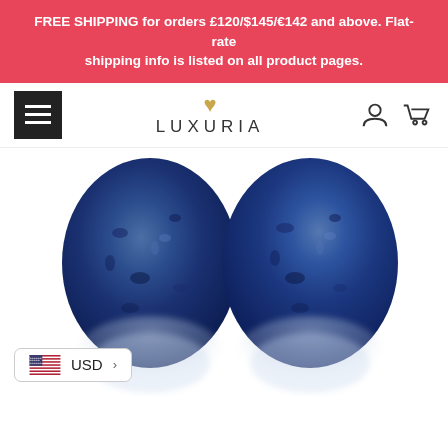FREE SHIPPING for orders £120/$145/€142 and above. Flat-rate shipping info is listed on all product pages.
[Figure (logo): Luxuria brand logo with gold heart above text LUXURIA, hamburger menu icon on left, user and cart icons on right]
[Figure (photo): Two large blue lapis lazuli oval cabochon gemstones shown side by side with reflections below on white background]
USD >